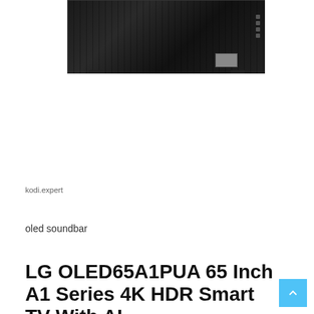[Figure (photo): Rear view of an LG OLED TV showing the back panel with ports, buttons, and mounting hardware against a dark metallic background]
kodi.expert
oled soundbar
LG OLED65A1PUA 65 Inch A1 Series 4K HDR Smart TV With AI